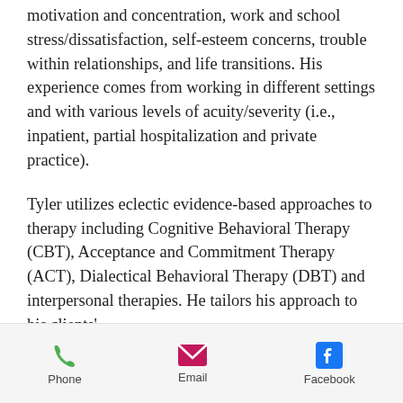motivation and concentration, work and school stress/dissatisfaction, self-esteem concerns, trouble within relationships, and life transitions. His experience comes from working in different settings and with various levels of acuity/severity (i.e., inpatient, partial hospitalization and private practice).
Tyler utilizes eclectic evidence-based approaches to therapy including Cognitive Behavioral Therapy (CBT), Acceptance and Commitment Therapy (ACT), Dialectical Behavioral Therapy (DBT) and interpersonal therapies. He tailors his approach to his clients'
Phone  Email  Facebook